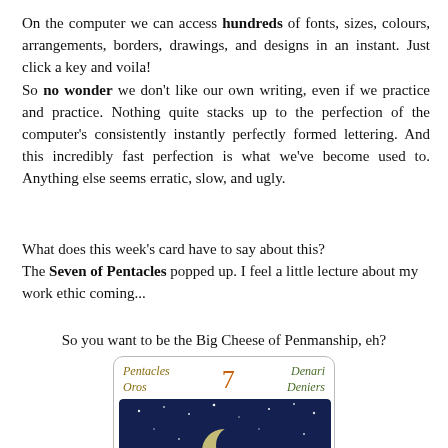On the computer we can access hundreds of fonts, sizes, colours, arrangements, borders, drawings, and designs in an instant. Just click a key and voila!
So no wonder we don't like our own writing, even if we practice and practice. Nothing quite stacks up to the perfection of the computer's consistently instantly perfectly formed lettering. And this incredibly fast perfection is what we've become used to. Anything else seems erratic, slow, and ugly.
What does this week’s card have to say about this?
The Seven of Pentacles popped up. I feel a little lecture about my work ethic coming...
So you want to be the Big Cheese of Penmanship, eh?
[Figure (illustration): Tarot card showing Seven of Pentacles with starry night sky and crescent moon. Card header shows 'Pentacles / Oros' on the left, a large orange '7' in the center, and 'Denari / Deniers' on the right in green italic text.]